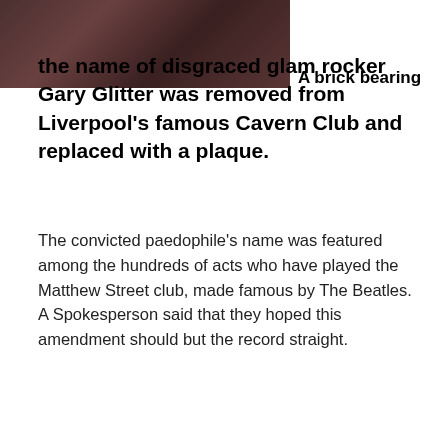[Figure (photo): Close-up photograph of a dark reddish-brown brick surface]
A brick bearing the name of disgraced glam rocker Gary Glitter was removed from Liverpool's famous Cavern Club and replaced with a plaque.
The convicted paedophile's name was featured among the hundreds of acts who have played the Matthew Street club, made famous by The Beatles. A Spokesperson said that they hoped this amendment should but the record straight.
November 15, 2008
Leave a Reply
This Weeks Festival News Round Up